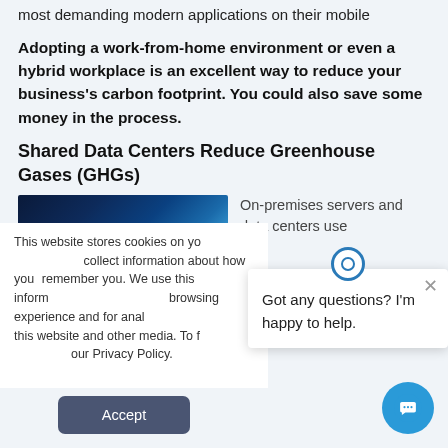most demanding modern applications on their mobile
Adopting a work-from-home environment or even a hybrid workplace is an excellent way to reduce your business's carbon footprint. You could also save some money in the process.
Shared Data Centers Reduce Greenhouse Gases (GHGs)
[Figure (photo): Dark blue glowing digital globe or network visualization with light emanating from below, on dark navy background]
On-premises servers and data centers use
This website stores cookies on your computer to collect information about how you interact, remember you. We use this information to improve your browsing experience and for analytics, as well as for this website and other media. To find out more visit our Privacy Policy.
Got any questions? I'm happy to help.